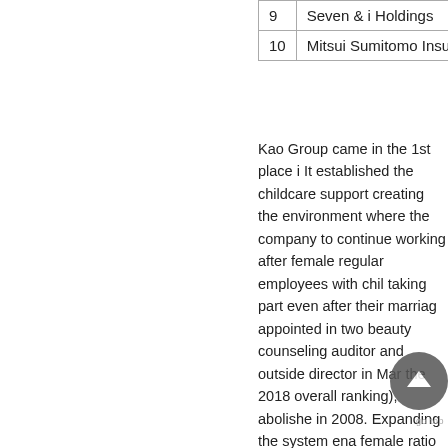|  |  |
| --- | --- |
| 9 | Seven & i Holdings |
| 10 | Mitsui Sumitomo Insuran... |
Kao Group came in the 1st place i... It established the childcare support creating the environment where the company to continue working after female regular employees with chil taking part even after their marriag appointed in two beauty counseling auditor and outside director in Marc the 2018 overall ranking), abolishe in 2008. Expanding the system ena female ratio of line managerial posi 3rd ranked IBM Japan (7th in the 2 promotion project under the direct  sponsorship program with individua executives increased to 16%. Just scores with only 5.6 points among  measures for utilization of female e such activities were ranked higher.
In addition to the overall ranking, ra what specific ways the surveyed co female employees. The evaluation...